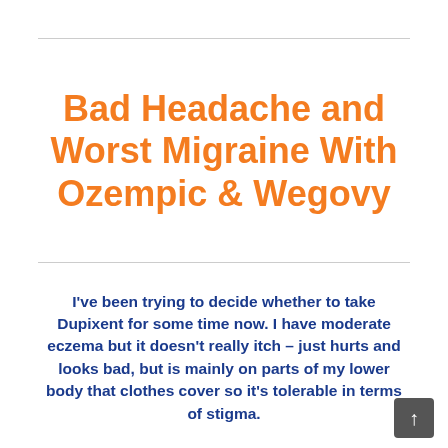Bad Headache and Worst Migraine With Ozempic & Wegovy
I've been trying to decide whether to take Dupixent for some time now. I have moderate eczema but it doesn't really itch – just hurts and looks bad, but is mainly on parts of my lower body that clothes cover so it's tolerable in terms of stigma.
I also have reactive airway and rhinosinusitis issues and some sleep apnea. But probably the symptoms that most negatively affect my life are fatigue, low